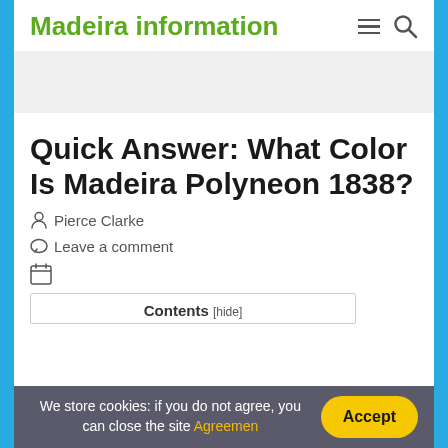Madeira information
Quick Answer: What Color Is Madeira Polyneon 1838?
Pierce Clarke
Leave a comment
Contents [hide]
We store cookies: if you do not agree, you can close the site Agreemen